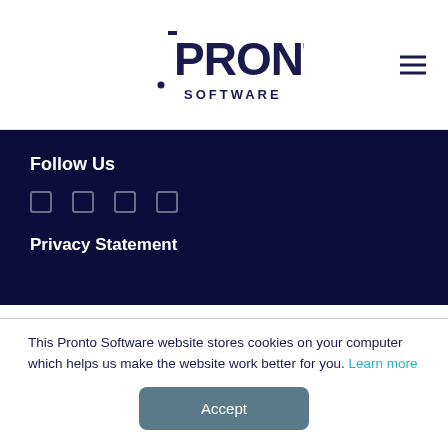PRONTO SOFTWARE
Follow Us
Privacy Statement
[Figure (logo): Pronto Software logo — large version in white section]
This Pronto Software website stores cookies on your computer which helps us make the website work better for you. Learn more
Accept